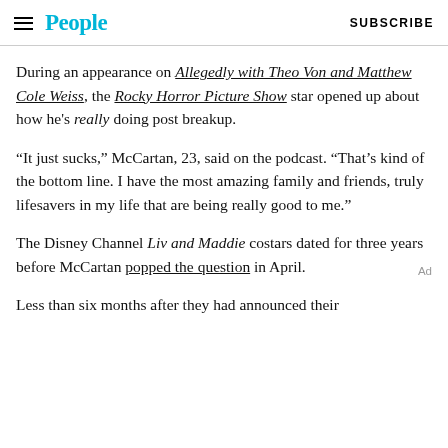People | SUBSCRIBE
During an appearance on Allegedly with Theo Von and Matthew Cole Weiss, the Rocky Horror Picture Show star opened up about how he's really doing post breakup.
“It just sucks,” McCartan, 23, said on the podcast. “That’s kind of the bottom line. I have the most amazing family and friends, truly lifesavers in my life that are being really good to me.”
The Disney Channel Liv and Maddie costars dated for three years before McCartan popped the question in April.
Less than six months after they had announced their